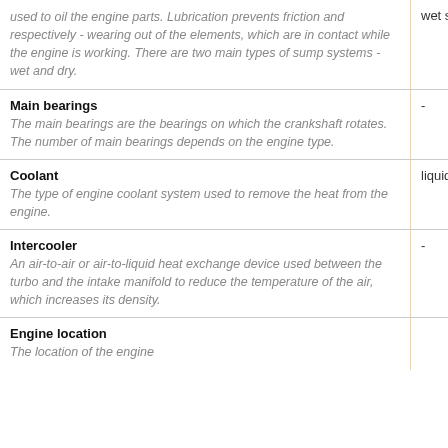| Feature / Description | Value |
| --- | --- |
| used to oil the engine parts. Lubrication prevents friction and respectively - wearing out of the elements, which are in contact while the engine is working. There are two main types of sump systems - wet and dry. | wet sump |
| Main bearings
The main bearings are the bearings on which the crankshaft rotates. The number of main bearings depends on the engine type. | - |
| Coolant
The type of engine coolant system used to remove the heat from the engine. | liquid |
| Intercooler
An air-to-air or air-to-liquid heat exchange device used between the turbo and the intake manifold to reduce the temperature of the air, which increases its density. | - |
| Engine location
The location of the engine |  |